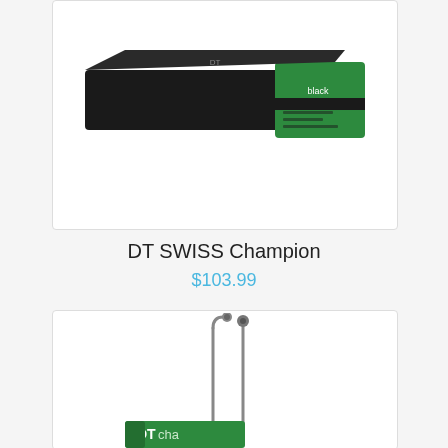[Figure (photo): DT Swiss Champion spokes in black packaging box with green label showing 'black' text]
DT SWISS Champion
$103.99
[Figure (photo): Two DT Swiss Champion spokes (one J-bend, one straight-pull) displayed vertically above a green DT Champion product box]